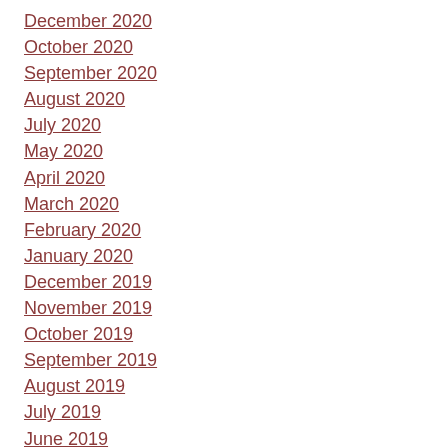December 2020
October 2020
September 2020
August 2020
July 2020
May 2020
April 2020
March 2020
February 2020
January 2020
December 2019
November 2019
October 2019
September 2019
August 2019
July 2019
June 2019
May 2019
April 2019